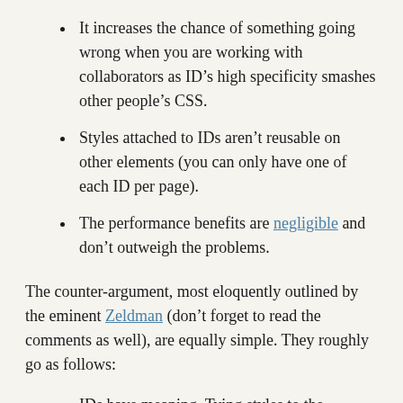It increases the chance of something going wrong when you are working with collaborators as ID’s high specificity smashes other people’s CSS.
Styles attached to IDs aren’t reusable on other elements (you can only have one of each ID per page).
The performance benefits are negligible and don’t outweigh the problems.
The counter-argument, most eloquently outlined by the eminent Zeldman (don’t forget to read the comments as well), are equally simple. They roughly go as follows:
IDs have meaning. Tying styles to the semantics of the document is generally more desirable than tying them to the more generic structure of the document.
When you look at the markup, you instantly know the...